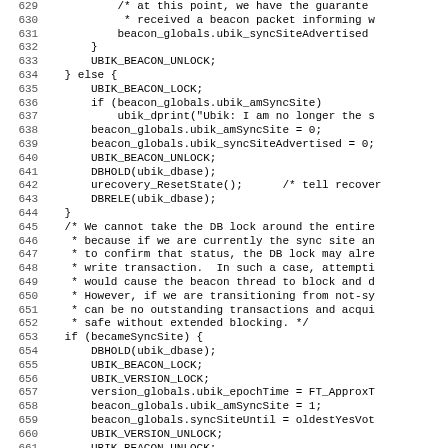[Figure (other): Source code listing, lines 629-660, showing C code for UBIK beacon synchronization logic]